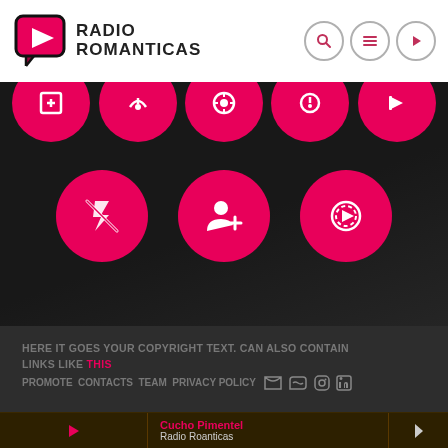RADIO ROMANTICAS
[Figure (screenshot): Dark hero section with pink circular app store / streaming icons in two rows on a dark background]
HERE IT GOES YOUR COPYRIGHT TEXT. CAN ALSO CONTAIN LINKS LIKE THIS
PROMOTE CONTACTS TEAM PRIVACY POLICY
Cucho Pimentel
Radio Roanticas